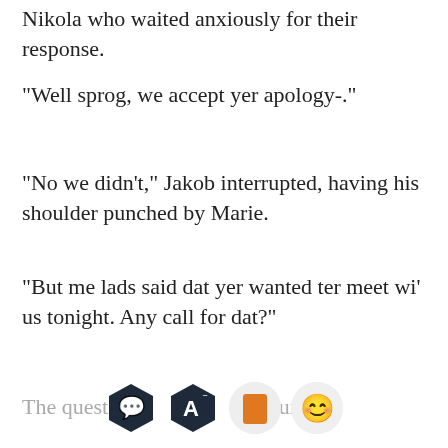Nikola who waited anxiously for their response.
"Well sprog, we accept yer apology-."
"No we didn't," Jakob interrupted, having his shoulder punched by Marie.
"But me lads said dat yer wanted ter meet wi' us tonight. Any call for dat?"
The question ... the purpose.
[Figure (screenshot): Reading app toolbar with four icons: comment bubble (dark hexagon), font size A (dark hexagon), book/bookmark (orange rounded square), and a smiling cat emoji (circle)]